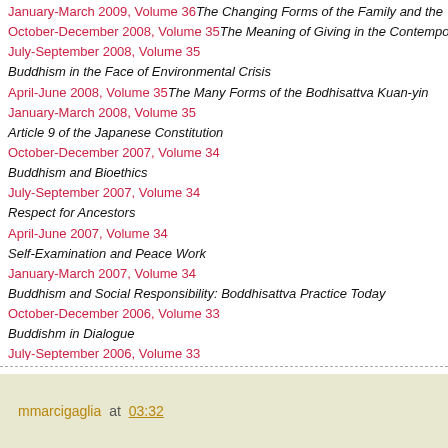January-March 2009, Volume 36 The Changing Forms of the Family and the
October-December 2008, Volume 35 The Meaning of Giving in the Contempo
July-September 2008, Volume 35
Buddhism in the Face of Environmental Crisis
April-June 2008, Volume 35 The Many Forms of the Bodhisattva Kuan-yin
January-March 2008, Volume 35
Article 9 of the Japanese Constitution
October-December 2007, Volume 34
Buddhism and Bioethics
July-September 2007, Volume 34
Respect for Ancestors
April-June 2007, Volume 34
Self-Examination and Peace Work
January-March 2007, Volume 34
Buddhism and Social Responsibility: Boddhisattva Practice Today
October-December 2006, Volume 33
Buddishm in Dialogue
July-September 2006, Volume 33
Religions Working for Peace
April-June 2006, Volume 33
Creating the World of the One Vehicle: The Centennial of the Birth of Rev. N
mmarcigaglia at 03:32